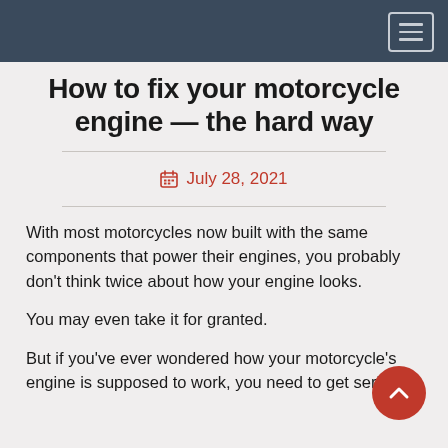How to fix your motorcycle engine — the hard way
July 28, 2021
With most motorcycles now built with the same components that power their engines, you probably don't think twice about how your engine looks.
You may even take it for granted.
But if you've ever wondered how your motorcycle's engine is supposed to work, you need to get serious.